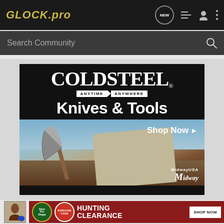GLOCK.pro
Search Community
[Figure (screenshot): Cold Steel Knives & Tools advertisement banner. Black background with Cold Steel logo and tagline 'ANYTIME ANYWHERE', text 'Knives & Tools', photo of person holding an axe, 'Shop Now' button, MidwayUSA branding.]
[Figure (screenshot): Bass Pro Shops Hunting Clearance Bargain Cave advertisement banner with Shop Now button.]